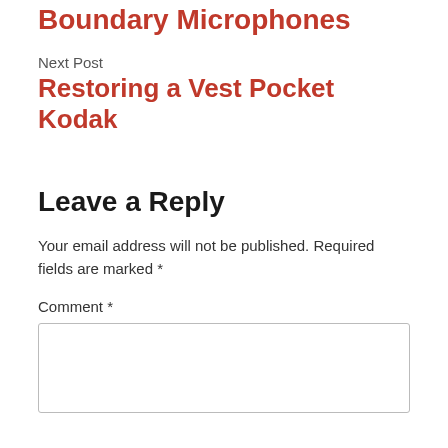Boundary Microphones
Next Post
Restoring a Vest Pocket Kodak
Leave a Reply
Your email address will not be published. Required fields are marked *
Comment *